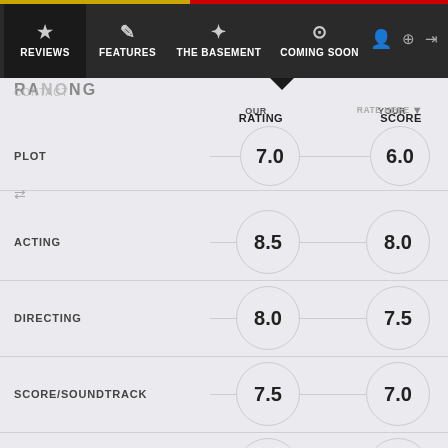[Figure (screenshot): Navigation bar with REVIEWS, FEATURES, THE BASEMENT, COMING SOON tabs, and user/login icons]
OUR RATING | YOUR SCORE
RATE HERE
| CATEGORY | OUR RATING | YOUR SCORE |
| --- | --- | --- |
| PLOT | 7.0 | 6.0 |
| ACTING | 8.5 | 8.0 |
| DIRECTING | 8.0 | 7.5 |
| SCORE/SOUNDTRACK | 7.5 | 7.0 |
| CINEMATOGRAPHY | 7.0 | 7.0 |
| SCARES |  |  |